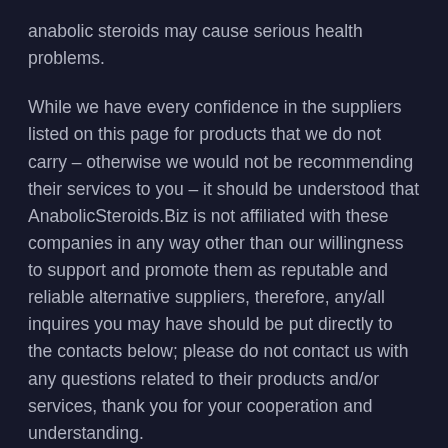anabolic steroids may cause serious health problems.
While we have every confidence in the suppliers listed on this page for products that we do not carry – otherwise we would not be recommending their services to you – it should be understood that AnabolicSteroids.Biz is not affiliated with these companies in any way other than our willingness to support and promote them as reputable and reliable alternative suppliers, therefore, any/all inquires you may have should be put directly to the contacts below; please do not contact us with any questions related to their products and/or services, thank you for your cooperation and understanding.